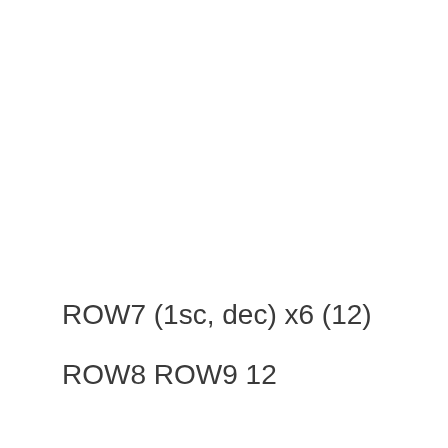ROW7 (1sc, dec) x6 (12)
ROW8 ROW9 12